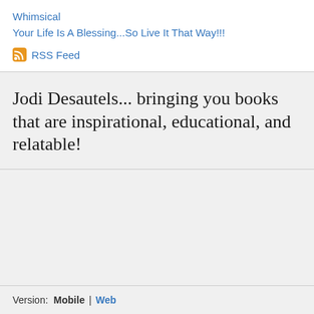Whimsical
Your Life Is A Blessing...So Live It That Way!!!
RSS Feed
Jodi Desautels... bringing you books that are inspirational, educational, and relatable!
Version:   Mobile | Web